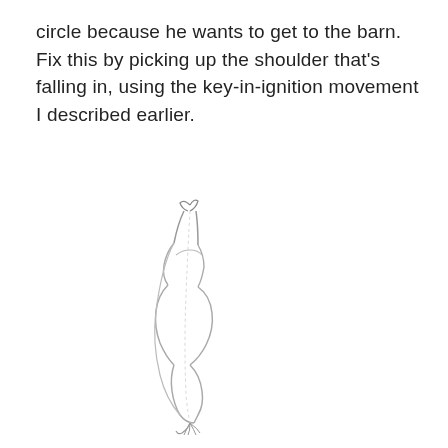circle because he wants to get to the barn. Fix this by picking up the shoulder that's falling in, using the key-in-ignition movement I described earlier.
[Figure (illustration): Line drawing sketch of a horse and rider viewed from above/behind, showing the horse's body curving to the left with a tilted/falling shoulder, rendered in pencil-style strokes.]